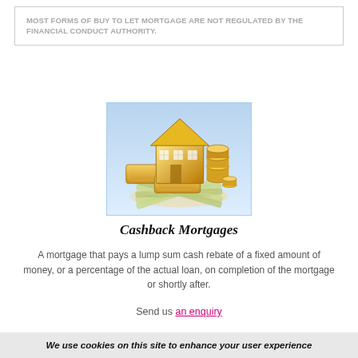MOST FORMS OF BUY TO LET MORTGAGE ARE NOT REGULATED BY THE FINANCIAL CONDUCT AUTHORITY.
[Figure (illustration): Gold house, gold bars, coins and US dollar bills on a light blue background – illustrating cashback mortgages]
Cashback Mortgages
A mortgage that pays a lump sum cash rebate of a fixed amount of money, or a percentage of the actual loan, on completion of the mortgage or shortly after.
Send us an enquiry
We use cookies on this site to enhance your user experience